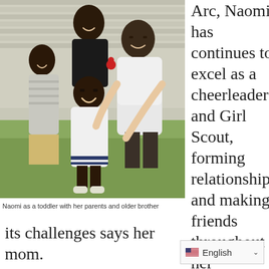[Figure (photo): Family photo showing Naomi as a toddler in a white dress, smiling, held by her parents and older brother, all dressed smartly, outdoors in front of a house.]
Naomi as a toddler with her parents and older brother
Arc, Naomi has continues to excel as a cheerleader and Girl Scout, forming relationships and making friends throughout her community; but this isn't without its challenges says her mom.